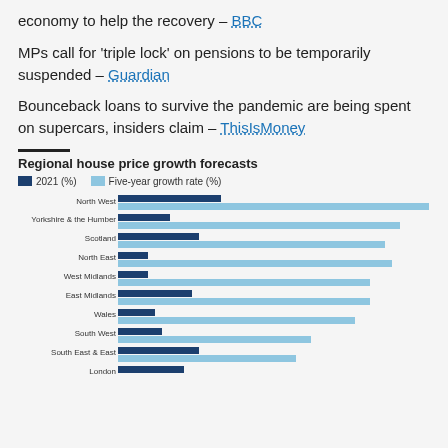economy to help the recovery – BBC
MPs call for 'triple lock' on pensions to be temporarily suspended – Guardian
Bounceback loans to survive the pandemic are being spent on supercars, insiders claim – ThisIsMoney
Regional house price growth forecasts
[Figure (grouped-bar-chart): Regional house price growth forecasts]